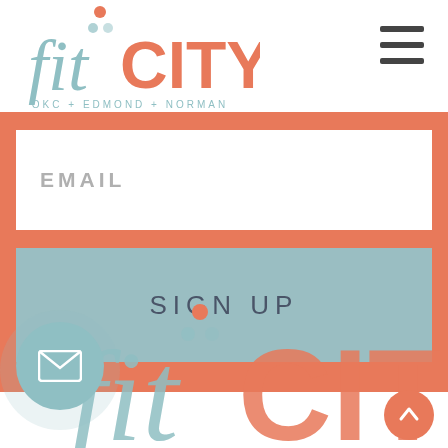[Figure (logo): FitCity logo with 'fit' in light blue and 'CITY' in salmon/orange, with OKC + EDMOND + NORMAN subtitle, top left]
[Figure (other): Hamburger menu icon (three horizontal lines) in dark gray, top right]
EMAIL
SIGN UP
[Figure (logo): FitCity logo repeated large at bottom: 'fit' in light blue-gray and 'CITY' in salmon/orange, with decorative dots above]
[Figure (other): Email envelope icon in white inside a teal circle, bottom left]
[Figure (other): Back to top arrow icon in white inside an orange circle, bottom right]